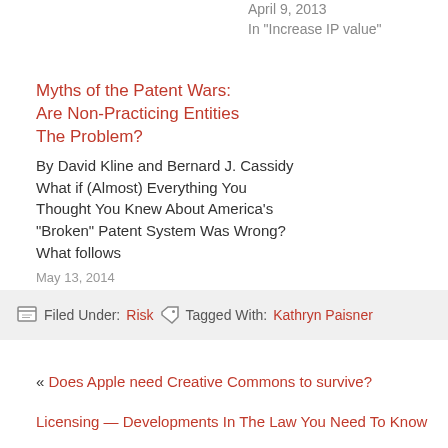April 9, 2013
In "Increase IP value"
Myths of the Patent Wars: Are Non-Practicing Entities The Problem?
By David Kline and Bernard J. Cassidy What if (Almost) Everything You Thought You Knew About America’s “Broken” Patent System Was Wrong? What follows
May 13, 2014
In “Risk”
Filed Under: Risk   Tagged With: Kathryn Paisner
« Does Apple need Creative Commons to survive?
Licensing — Developments In The Law You Need To Know